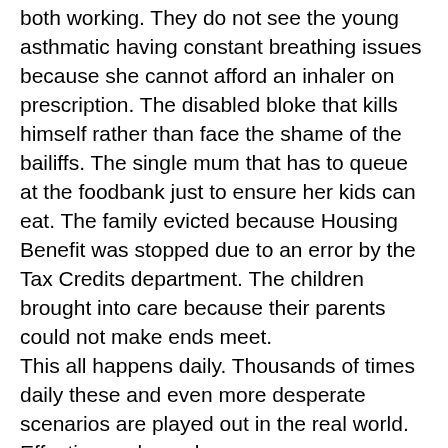both working. They do not see the young asthmatic having constant breathing issues because she cannot afford an inhaler on prescription. The disabled bloke that kills himself rather than face the shame of the bailiffs. The single mum that has to queue at the foodbank just to ensure her kids can eat. The family evicted because Housing Benefit was stopped due to an error by the Tax Credits department. The children brought into care because their parents could not make ends meet.
This all happens daily. Thousands of times daily these and even more desperate scenarios are played out in the real world. Effecting real people.
You may not be one of these. May not know anyone in this situation. May never know anyone existing in such desperation, or worse no longer existing. I am therefore happy that your ignorance is your bliss. That your conscience is clear, I mean what can you do? Your just one person right?
Well if every ‘one person’ got a bit of morality, if every